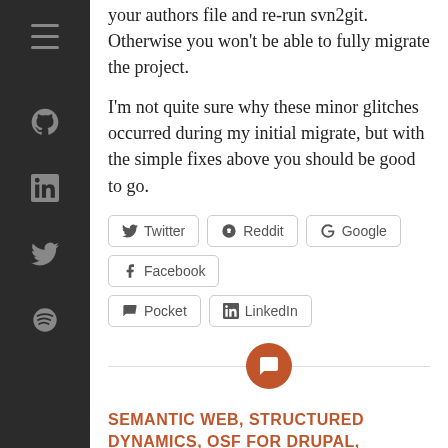your authors file and re-run svn2git. Otherwise you won't be able to fully migrate the project.
I'm not quite sure why these minor glitches occurred during my initial migrate, but with the simple fixes above you should be good to go.
Twitter
Reddit
Google
Facebook
Pocket
LinkedIn
SEMANTIC WEB, STRUCTURED DYNAMICS, OSF FOR DRUPAL, PROGRAMMING, OSF WEB SERVICES, OSF WIDGETS, OPEN SEMANTIC